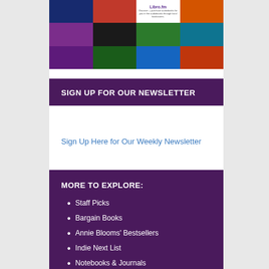[Figure (photo): Libro.fm audiobook app promotional image showing a grid of colorful book covers with the Libro.fm logo in the center]
SIGN UP FOR OUR NEWSLETTER
Sign Up Here for Our Weekly Newsletter
MORE TO EXPLORE:
Staff Picks
Bargain Books
Annie Blooms' Bestsellers
Indie Next List
Notebooks & Journals
Recommended Book Lists for Young Readers
Oregon Battle of the Books Lists